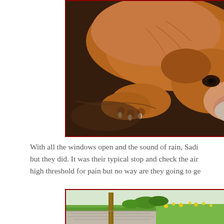[Figure (photo): Close-up photo of a brown/tan dog resting its head on a dark leather surface, eyes visible, paws tucked beneath its chin]
With all the windows open and the sound of rain, Sadi... but they did. It was their typical stop and check the air... high threshold for pain but no way are they going to ge...
[Figure (photo): Outdoor photo showing green grass, gravel driveway, wooden post, with yellow wildflowers in background]